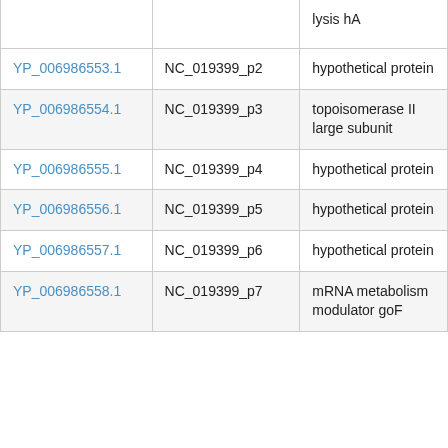| (protein accession) | (locus tag) | (description) |
| --- | --- | --- |
| YP_006986553.1 | NC_019399_p2 | hypothetical protein |
| YP_006986554.1 | NC_019399_p3 | topoisomerase II large subunit |
| YP_006986555.1 | NC_019399_p4 | hypothetical protein |
| YP_006986556.1 | NC_019399_p5 | hypothetical protein |
| YP_006986557.1 | NC_019399_p6 | hypothetical protein |
| YP_006986558.1 | NC_019399_p7 | mRNA metabolism modulator goF |